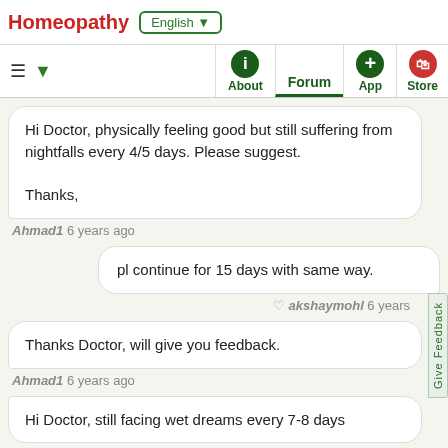Homeopathy | English
About | Forum | App | Store
Hi Doctor, physically feeling good but still suffering from nightfalls every 4/5 days. Please suggest.

Thanks,
Ahmad1 6 years ago
pl continue for 15 days with same way.
akshaymohl 6 years
Thanks Doctor, will give you feedback.
Ahmad1 6 years ago
Hi Doctor, still facing wet dreams every 7-8 days